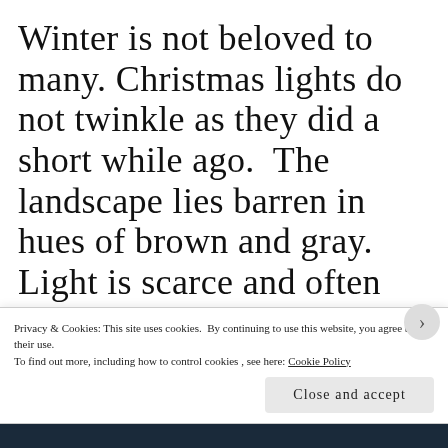Winter is not beloved to many. Christmas lights do not twinkle as they did a short while ago. The landscape lies barren in hues of brown and gray. Light is scarce and often muted. Still, we ought not to lose heart. Winter does not make the many demands, like the warmer seasons do. Gardeners can spend the winter dreaming, for they know that miracles await, just beneath the
Privacy & Cookies: This site uses cookies. By continuing to use this website, you agree to their use.
To find out more, including how to control cookies, see here: Cookie Policy
Close and accept